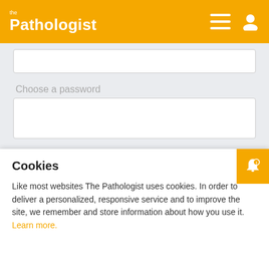the Pathologist
Choose a password
I have read and understand the Privacy Notice *
Stay up to date with our other newsletters and
Cookies
Like most websites The Pathologist uses cookies. In order to deliver a personalized, responsive service and to improve the site, we remember and store information about how you use it. Learn more.